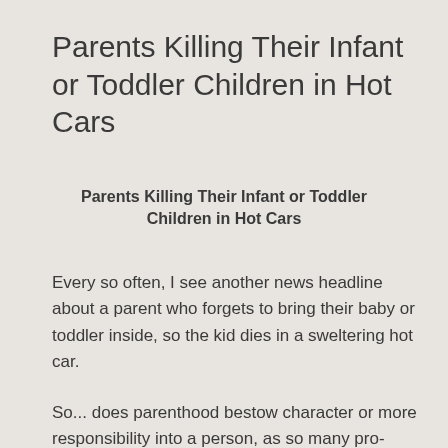Parents Killing Their Infant or Toddler Children in Hot Cars
Parents Killing Their Infant or Toddler Children in Hot Cars
Every so often, I see another news headline about a parent who forgets to bring their baby or toddler inside, so the kid dies in a sweltering hot car.
So... does parenthood bestow character or more responsibility into a person, as so many pro-